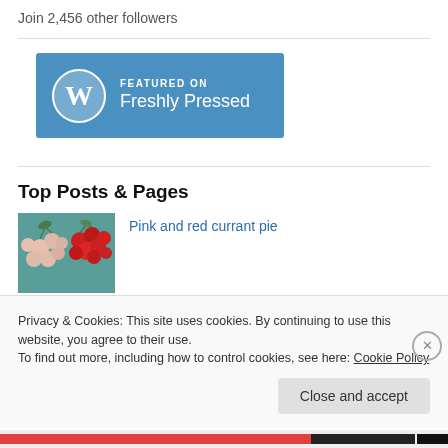Join 2,456 other followers
[Figure (logo): WordPress Featured on Freshly Pressed blue badge with WordPress logo]
Top Posts & Pages
[Figure (photo): Thumbnail image of pink and red currants]
Pink and red currant pie
Privacy & Cookies: This site uses cookies. By continuing to use this website, you agree to their use.
To find out more, including how to control cookies, see here: Cookie Policy
Close and accept